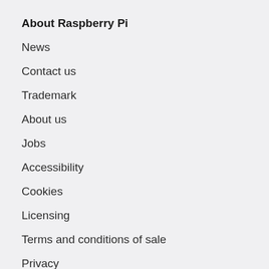About Raspberry Pi
News
Contact us
Trademark
About us
Jobs
Accessibility
Cookies
Licensing
Terms and conditions of sale
Privacy
Security
For home